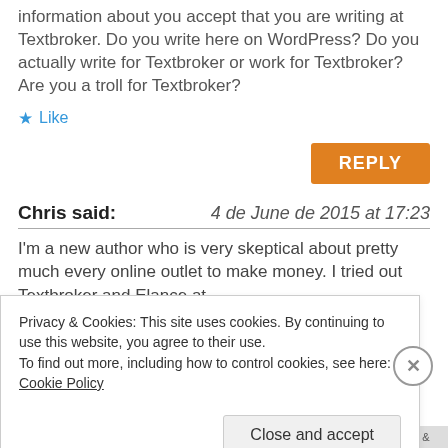information about you accept that you are writing at Textbroker. Do you write here on WordPress? Do you actually write for Textbroker or work for Textbroker? Are you a troll for Textbroker?
★ Like
REPLY
Chris said:  4 de June de 2015 at 17:23
I'm a new author who is very skeptical about pretty much every online outlet to make money. I tried out Textbroker and Elance at
Privacy & Cookies: This site uses cookies. By continuing to use this website, you agree to their use.
To find out more, including how to control cookies, see here: Cookie Policy
Close and accept